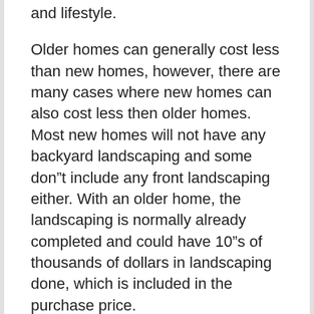and lifestyle.
Older homes can generally cost less than new homes, however, there are many cases where new homes can also cost less then older homes. Most new homes will not have any backyard landscaping and some don“t include any front landscaping either. With an older home, the landscaping is normally already completed and could have 10”s of thousands of dollars in landscaping done, which is included in the purchase price.
Taxes on some older homes may also be lower. Some people are charmed by the elegance of an older home but shy away because they”re concerned about potential maintenance costs. Consider a home warranty to get the peace of mind you deserve. A good Home Warranty plan